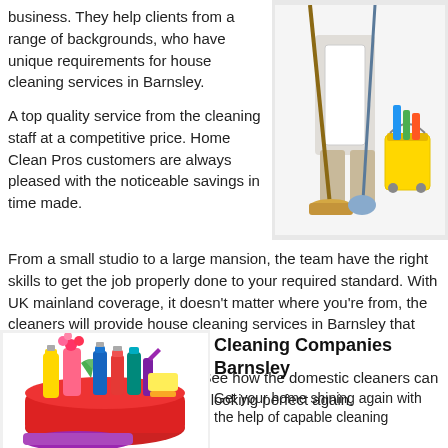business. They help clients from a range of backgrounds, who have unique requirements for house cleaning services in Barnsley.
[Figure (photo): A cleaner in white apron standing with a broom, mop, and yellow cleaning bucket with supplies]
A top quality service from the cleaning staff at a competitive price. Home Clean Pros customers are always pleased with the noticeable savings in time made.
From a small studio to a large mansion, the team have the right skills to get the job properly done to your required standard. With UK mainland coverage, it doesn't matter where you're from, the cleaners will provide house cleaning services in Barnsley that suits your needs.
So what are you waiting for? See how the domestic cleaners can help today and get your home looking perfect again.
[Figure (photo): A red basket filled with colorful cleaning supply bottles, sprays, and purple cleaning cloths]
Cleaning Companies Barnsley
Get your home shining again with the help of capable cleaning